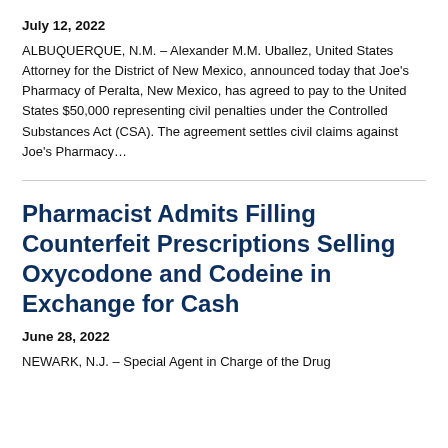July 12, 2022
ALBUQUERQUE, N.M. – Alexander M.M. Uballez, United States Attorney for the District of New Mexico, announced today that Joe's Pharmacy of Peralta, New Mexico, has agreed to pay to the United States $50,000 representing civil penalties under the Controlled Substances Act (CSA). The agreement settles civil claims against Joe's Pharmacy…
Pharmacist Admits Filling Counterfeit Prescriptions Selling Oxycodone and Codeine in Exchange for Cash
June 28, 2022
NEWARK, N.J. – Special Agent in Charge of the Drug